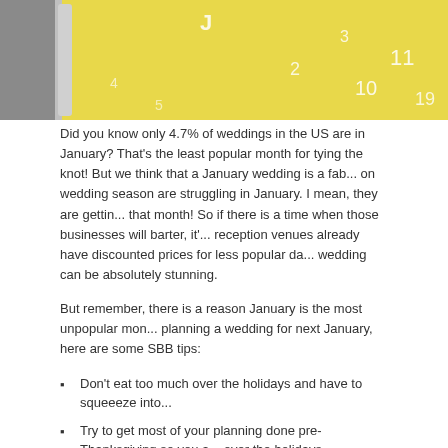[Figure (photo): Close-up photo of a yellow calendar with white numbers, partially visible, with a gray border/frame element on the left side.]
Did you know only 4.7% of weddings in the US are in January? That's the least popular month for tying the knot! But we think that a January wedding is a fab... on wedding season are struggling in January. I mean, they are gettin... that month! So if there is a time when those businesses will barter, it'... reception venues already have discounted prices for less popular da... wedding can be absolutely stunning.
But remember, there is a reason January is the most unpopular mon... planning a wedding for next January, here are some SBB tips:
Don't eat too much over the holidays and have to squeeeze into...
Try to get most of your planning done pre-Thanksgiving so you a... over the holidays.
Keep the ceremony & reception indoors. And keep it warm for y... close by so they won't have to walk too far in the cold.